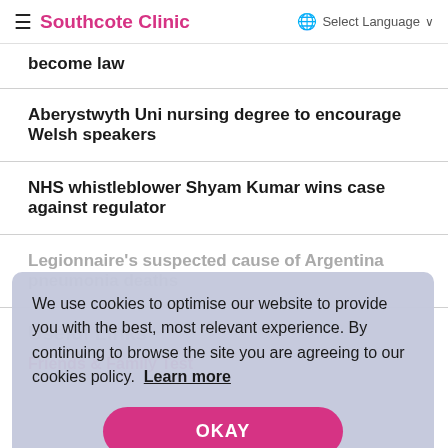≡ Southcote Clinic | Select Language
become law
Aberystwyth Uni nursing degree to encourage Welsh speakers
NHS whistleblower Shyam Kumar wins case against regulator
Legionnaire's suspected cause of Argentina pneumonia deaths
We use cookies to optimise our website to provide you with the best, most relevant experience. By continuing to browse the site you are agreeing to our cookies policy. Learn more
OKAY
Useful Links
Friends & Family Test